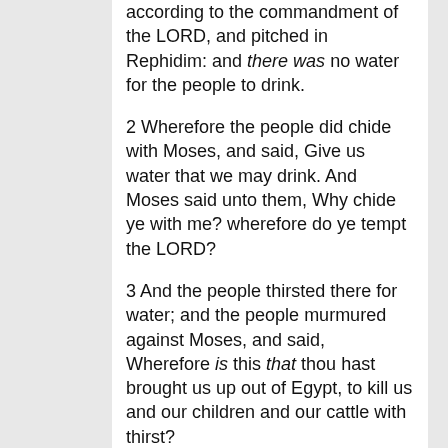according to the commandment of the LORD, and pitched in Rephidim: and there was no water for the people to drink.
2 Wherefore the people did chide with Moses, and said, Give us water that we may drink. And Moses said unto them, Why chide ye with me? wherefore do ye tempt the LORD?
3 And the people thirsted there for water; and the people murmured against Moses, and said, Wherefore is this that thou hast brought us up out of Egypt, to kill us and our children and our cattle with thirst?
4 And Moses cried unto the LORD, saying, What shall I do unto this people? they be almost ready to stone me.